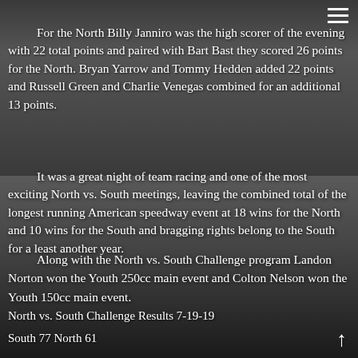[Figure (photo): Black and white photograph of a speedway racing event with crowds in the stands, taken at an outdoor track. Motorcycles visible on the track.]
For the North Billy Janniro was the high scorer of the evening with 22 total points and paired with Bart Bast they scored 26 points for the North. Bryan Yarrow and Tommy Hedden added 22 points and Russell Green and Charlie Venegas combined for an additional 13 points.
It was a great night of team racing and one of the most exciting North vs. South meetings, leaving the combined total of the longest running American speedway event at 18 wins for the North and 10 wins for the South and bragging rights belong to the South for a least another year.
Along with the North vs. South Challenge program Landon Norton won the Youth 250cc main event and Colton Nelson won the Youth 150cc main event.
North vs. South Challenge Results 7-19-19
South 77 North 61